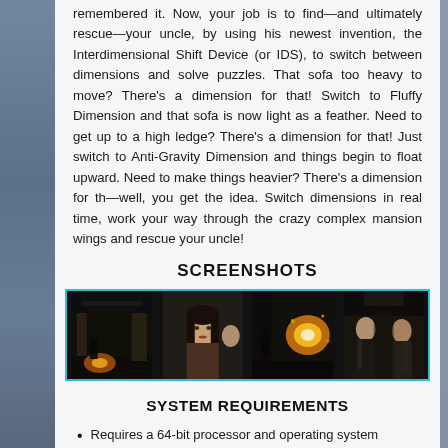remembered it. Now, your job is to find—and ultimately rescue—your uncle, by using his newest invention, the Interdimensional Shift Device (or IDS), to switch between dimensions and solve puzzles. That sofa too heavy to move? There's a dimension for that! Switch to Fluffy Dimension and that sofa is now light as a feather. Need to get up to a high ledge? There's a dimension for that! Just switch to Anti-Gravity Dimension and things begin to float upward. Need to make things heavier? There's a dimension for th—well, you get the idea. Switch dimensions in real time, work your way through the crazy complex mansion wings and rescue your uncle!
SCREENSHOTS
[Figure (screenshot): Four game screenshots showing dark atmospheric scenes]
SYSTEM REQUIREMENTS
Requires a 64-bit processor and operating system